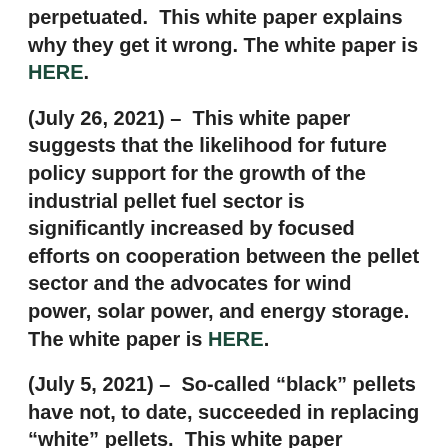perpetuated.  This white paper explains why they get it wrong. The white paper is HERE.
(July 26, 2021) –  This white paper suggests that the likelihood for future policy support for the growth of the industrial pellet fuel sector is significantly increased by focused efforts on cooperation between the pellet sector and the advocates for wind power, solar power, and energy storage.  The white paper is HERE.
(July 5, 2021) –  So-called “black” pellets have not, to date, succeeded in replacing “white” pellets.  This white paper discusses the challenges that black pellets have faced.  The paper also shows why innovation has opened the door to the potential for